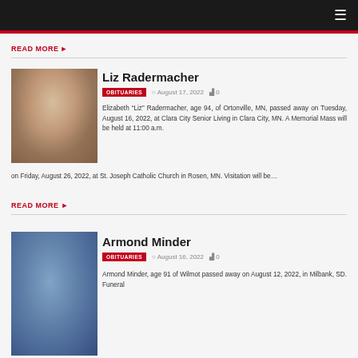READ MORE ▶
Liz Radermacher
OBITUARIES  August 17, 2022  0
Elizabeth "Liz" Radermacher, age 94, of Ortonville, MN, passed away on Tuesday, August 16, 2022, at Clara City Senior Living in Clara City, MN. A Memorial Mass will be held at 11:00 a.m. on Friday, August 26, 2022, at St. Joseph Catholic Church in Rosen, MN. Visitation will be…
READ MORE ▶
Armond Minder
OBITUARIES  August 16, 2022  0
Armond Minder, age 91 of Wilmot passed away on August 12, 2022, in Milbank, SD. Funeral